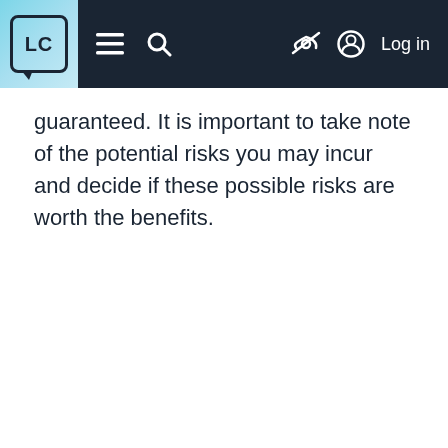LC [navigation bar with menu, search, hide, and log in icons]
guaranteed. It is important to take note of the potential risks you may incur and decide if these possible risks are worth the benefits.